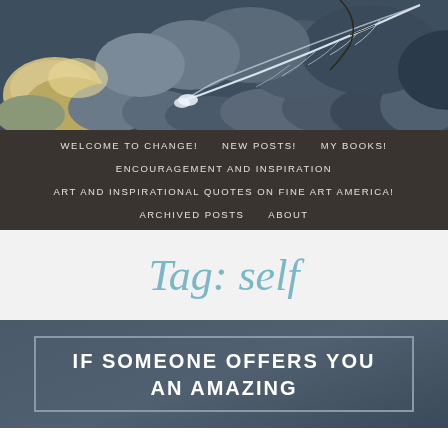[Figure (photo): Rocks and pebbles with a blue-gray feather resting on them, photographed in natural light]
WELCOME TO CHANGE!  NEW POSTS!  MY BOOKS!  ENCOURAGEMENT AND INSPIRATION  ART AND INSPIRATIONAL QUOTES ON FINE ART AMERICA!  ARCHIVED POSTS  ABOUT
Tag: self
IF SOMEONE OFFERS YOU AN AMAZING